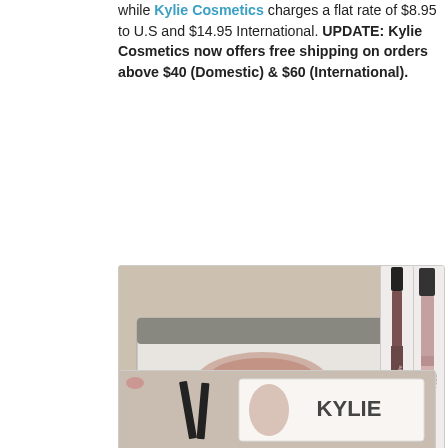while Kylie Cosmetics charges a flat rate of $8.95 to U.S and $14.95 International. UPDATE: Kylie Cosmetics now offers free shipping on orders above $40 (Domestic) & $60 (International).
[Figure (photo): Photo of a Kylie Cosmetics lip kit box (FLOG branding) showing a lip print design, placed on a surface. Watermark 'Asian Blog' visible.]
[Figure (photo): Photo of two Kylie Cosmetics lip products (liquid lipstick and lip liner) standing upright side by side.]
[Figure (photo): Photo of a Kylie Jenner lip kit box with a hand holding lip products visible, KYLIE branding on box.]